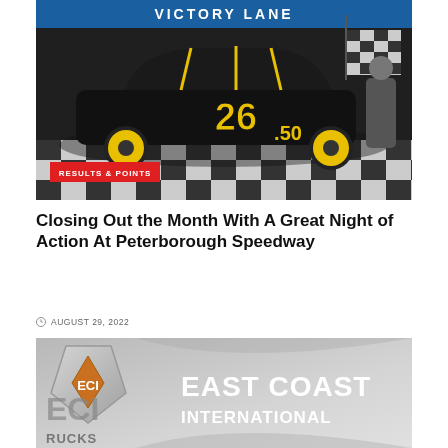[Figure (photo): Race car number 26.50 in Victory Lane with checkered flag, black car with yellow wheels on a checkered floor surface]
RESULTS & POINTS
Closing Out the Month With A Great Night of Action At Peterborough Speedway
AUGUST 29, 2022
[Figure (logo): ECI East Coast International Trucks logo on grey background]